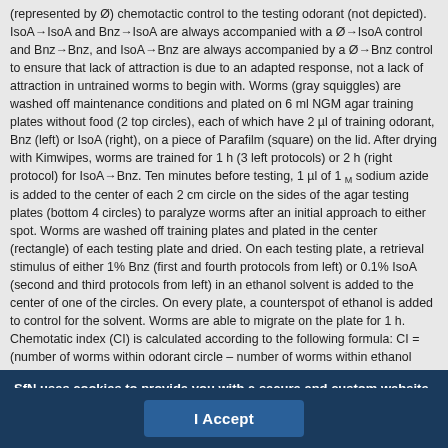(represented by Ø) chemotactic control to the testing odorant (not depicted). IsoA→IsoA and Bnz→IsoA are always accompanied with a Ø→IsoA control and Bnz→Bnz, and IsoA→Bnz are always accompanied by a Ø→Bnz control to ensure that lack of attraction is due to an adapted response, not a lack of attraction in untrained worms to begin with. Worms (gray squiggles) are washed off maintenance conditions and plated on 6 ml NGM agar training plates without food (2 top circles), each of which have 2 µl of training odorant, Bnz (left) or IsoA (right), on a piece of Parafilm (square) on the lid. After drying with Kimwipes, worms are trained for 1 h (3 left protocols) or 2 h (right protocol) for IsoA→Bnz. Ten minutes before testing, 1 µl of 1 M sodium azide is added to the center of each 2 cm circle on the sides of the agar testing plates (bottom 4 circles) to paralyze worms after an initial approach to either spot. Worms are washed off training plates and plated in the center (rectangle) of each testing plate and dried. On each testing plate, a retrieval stimulus of either 1% Bnz (first and fourth protocols from left) or 0.1% IsoA (second and third protocols from left) in an ethanol solvent is added to the center of one of the circles. On every plate, a counterspot of ethanol is added to control for the solvent. Worms are able to migrate on the plate for 1 h. Chemotatic index (CI) is calculated according to the following formula: CI = (number of worms within odorant circle – number of worms within ethanol
SfN uses cookies to provide you with a secure and custom website experience. Please read our privacy policy for more details. Learn more
I Accept